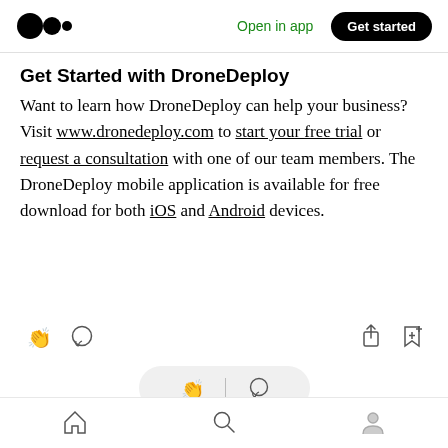Open in app | Get started
Get Started with DroneDeploy
Want to learn how DroneDeploy can help your business? Visit www.dronedeploy.com to start your free trial or request a consultation with one of our team members. The DroneDeploy mobile application is available for free download for both iOS and Android devices.
[Figure (screenshot): Medium app action icons: clap, comment, share, bookmark-plus (top row); clap and comment in floating pill (middle); home, search, profile icons in bottom navigation bar]